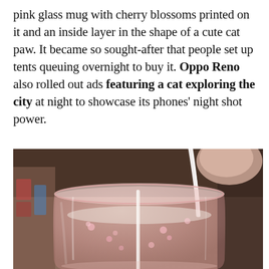pink glass mug with cherry blossoms printed on it and an inside layer in the shape of a cute cat paw. It became so sought-after that people set up tents queuing overnight to buy it. Oppo Reno also rolled out ads featuring a cat exploring the city at night to showcase its phones' night shot power.
[Figure (photo): A close-up photo of a pink glass mug with cherry blossom print being filled with a white liquid (milk or latte), shot from above in a café setting. The glass is double-walled and shows decorative cherry blossom petals. Background shows a blurred café counter.]